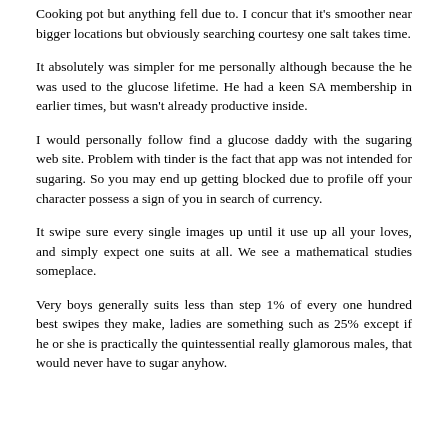Cooking pot but anything fell due to. I concur that it's smoother near bigger locations but obviously searching courtesy one salt takes time.
It absolutely was simpler for me personally although because the he was used to the glucose lifetime. He had a keen SA membership in earlier times, but wasn't already productive inside.
I would personally follow find a glucose daddy with the sugaring web site. Problem with tinder is the fact that app was not intended for sugaring. So you may end up getting blocked due to profile off your character possess a sign of you in search of currency.
It swipe sure every single images up until it use up all your loves, and simply expect one suits at all. We see a mathematical studies someplace.
Very boys generally suits less than step 1% of every one hundred best swipes they make, ladies are something such as 25% except if he or she is practically the quintessential really glamorous males, that would never have to sugar anyhow.